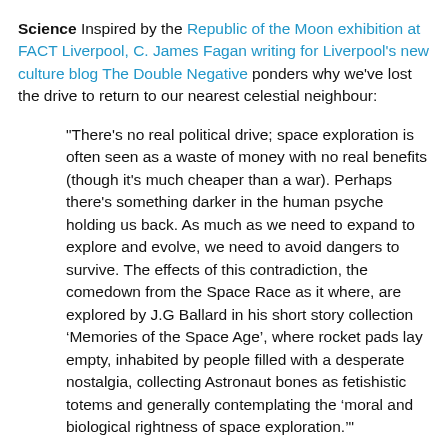Science Inspired by the Republic of the Moon exhibition at FACT Liverpool, C. James Fagan writing for Liverpool's new culture blog The Double Negative ponders why we've lost the drive to return to our nearest celestial neighbour:
"There's no real political drive; space exploration is often seen as a waste of money with no real benefits (though it's much cheaper than a war). Perhaps there's something darker in the human psyche holding us back. As much as we need to expand to explore and evolve, we need to avoid dangers to survive. The effects of this contradiction, the comedown from the Space Race as it where, are explored by J.G Ballard in his short story collection ‘Memories of the Space Age’, where rocket pads lay empty, inhabited by people filled with a desperate nostalgia, collecting Astronaut bones as fetishistic totems and generally contemplating the ‘moral and biological rightness of space exploration.’"
After reading this I had to fall back on my usual therapy